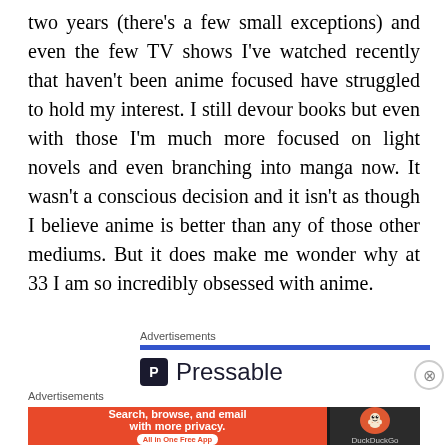two years (there's a few small exceptions) and even the few TV shows I've watched recently that haven't been anime focused have struggled to hold my interest. I still devour books but even with those I'm much more focused on light novels and even branching into manga now. It wasn't a conscious decision and it isn't as though I believe anime is better than any of those other mediums. But it does make me wonder why at 33 I am so incredibly obsessed with anime.
Advertisements
[Figure (other): Pressable advertisement with blue bar, Pressable logo icon and name]
Advertisements
[Figure (other): DuckDuckGo advertisement: Search, browse, and email with more privacy. All in One Free App. Orange background with DuckDuckGo logo on dark background.]